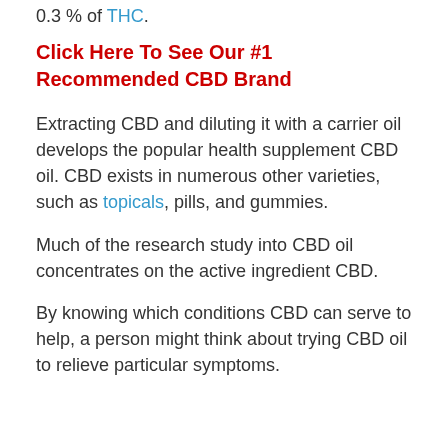0.3 % of THC.
Click Here To See Our #1 Recommended CBD Brand
Extracting CBD and diluting it with a carrier oil develops the popular health supplement CBD oil. CBD exists in numerous other varieties, such as topicals, pills, and gummies.
Much of the research study into CBD oil concentrates on the active ingredient CBD.
By knowing which conditions CBD can serve to help, a person might think about trying CBD oil to relieve particular symptoms.